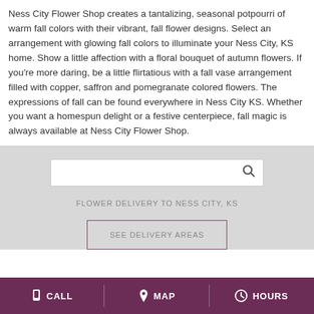Ness City Flower Shop creates a tantalizing, seasonal potpourri of warm fall colors with their vibrant, fall flower designs. Select an arrangement with glowing fall colors to illuminate your Ness City, KS home. Show a little affection with a floral bouquet of autumn flowers. If you're more daring, be a little flirtatious with a fall vase arrangement filled with copper, saffron and pomegranate colored flowers. The expressions of fall can be found everywhere in Ness City KS. Whether you want a homespun delight or a festive centerpiece, fall magic is always available at Ness City Flower Shop.
FLOWER DELIVERY TO NESS CITY, KS
SEE DELIVERY AREAS
CALL   MAP   HOURS